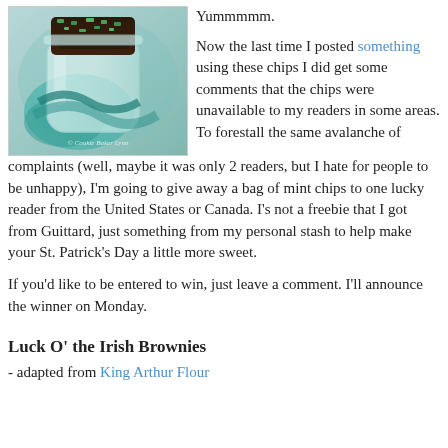[Figure (photo): Photo of a glass jar with brownies topped with green mint chips, with a teal/green ribbon. Watermark reads '© Cookie Baker Lynn'.]
Yummmmm.

Now the last time I posted something using these chips I did get some comments that the chips were unavailable to my readers in some areas. To forestall the same avalanche of complaints (well, maybe it was only 2 readers, but I hate for people to be unhappy), I'm going to give away a bag of mint chips to one lucky reader from the United States or Canada. I's not a freebie that I got from Guittard, just something from my personal stash to help make your St. Patrick's Day a little more sweet.
If you'd like to be entered to win, just leave a comment. I'll announce the winner on Monday.
Luck O' the Irish Brownies
- adapted from King Arthur Flour